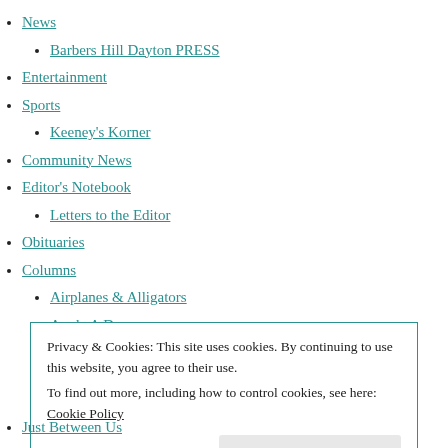News
Barbers Hill Dayton PRESS
Entertainment
Sports
Keeney's Korner
Community News
Editor's Notebook
Letters to the Editor
Obituaries
Columns
Airplanes & Alligators
Apple A Day
Ask the Attorney General
Privacy & Cookies: This site uses cookies. By continuing to use this website, you agree to their use.
To find out more, including how to control cookies, see here: Cookie Policy
Just Between Us